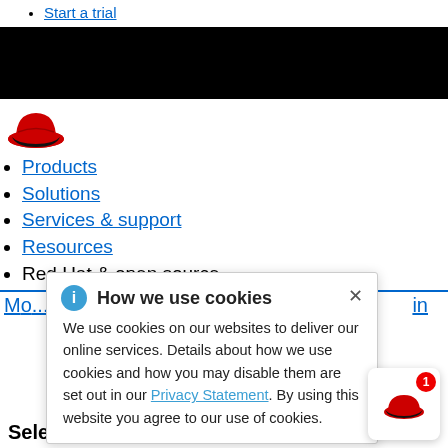Start a trial
[Figure (other): Black banner/header bar]
[Figure (logo): Red Hat logo - red fedora hat with black band]
Products
Solutions
Services & support
Resources
Red Hat & open source
Mo... in
How we use cookies
We use cookies on our websites to deliver our online services. Details about how we use cookies and how you may disable them are set out in our Privacy Statement. By using this website you agree to our use of cookies.
Welcome to Red Hat. What brings you here today?
Select a language